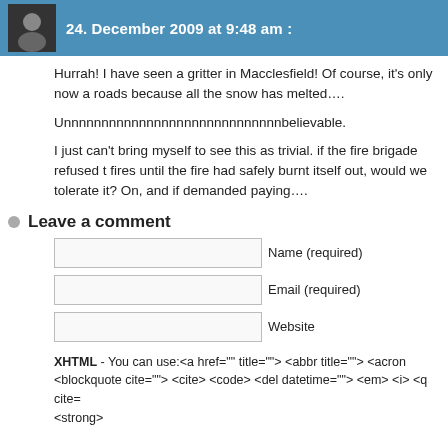24. December 2009 at 9:48 am :
Hurrah! I have seen a gritter in Macclesfield! Of course, it's only now a roads because all the snow has melted….
Unnnnnnnnnnnnnnnnnnnnnnnnnnnnnbelievable.
I just can't bring myself to see this as trivial. if the fire brigade refused t fires until the fire had safely burnt itself out, would we tolerate it? On, and if demanded paying….
Leave a comment
Name (required)
Email (required)
Website
XHTML - You can use:<a href="" title=""> <abbr title=""> <acron <blockquote cite=""> <cite> <code> <del datetime=""> <em> <i> <q cite= <strong>